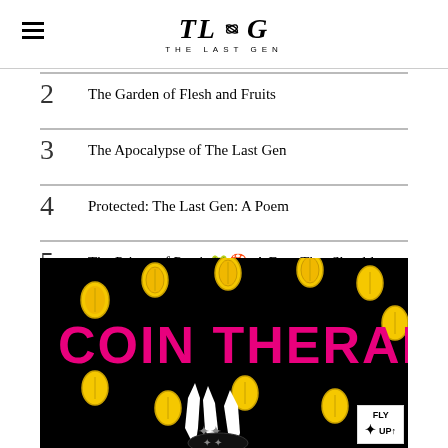THE LAST GEN
2  The Garden of Flesh and Fruits
3  The Apocalypse of The Last Gen
4  Protected: The Last Gen: A Poem
5  The Prince of Persia🐸🍄, A Frog That Should Have Never Been Kissed💋🙇
[Figure (illustration): Coin Therapy illustration on black background with yellow coins and white hands]